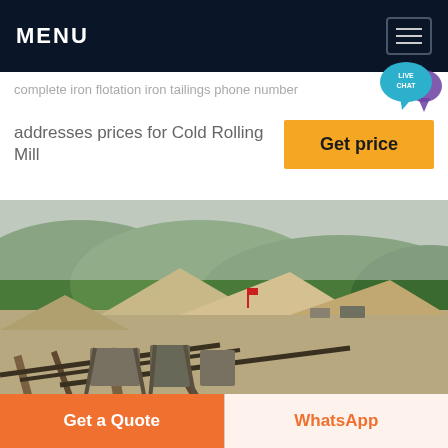MENU
addresses prices for Cold Rolling Mill
[Figure (photo): Mining/quarry site with large industrial conveyors and aggregate piles in foreground, green hills and overcast sky in background]
Get a Quote
WhatsApp